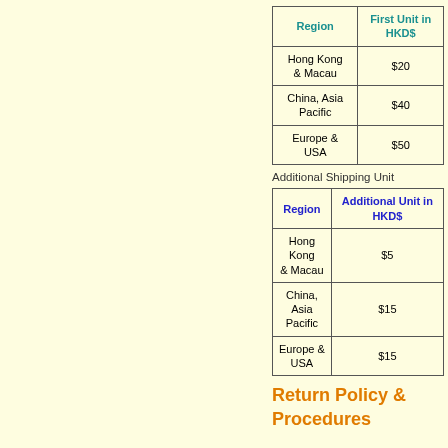| Region | First Unit in HKD$ |
| --- | --- |
| Hong Kong & Macau | $20 |
| China, Asia Pacific | $40 |
| Europe & USA | $50 |
Additional Shipping Unit
| Region | Additional Unit in HKD$ |
| --- | --- |
| Hong Kong & Macau | $5 |
| China, Asia Pacific | $15 |
| Europe & USA | $15 |
Return Policy & Procedures